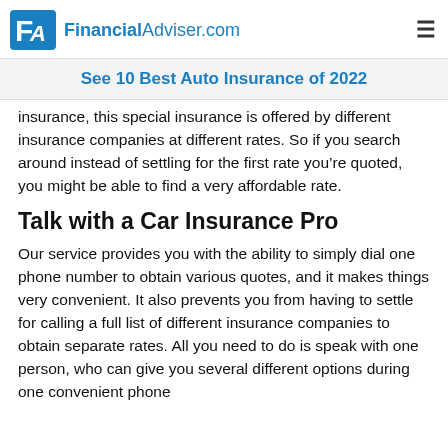FinancialAdviser.com
See 10 Best Auto Insurance of 2022
insurance, this special insurance is offered by different insurance companies at different rates. So if you search around instead of settling for the first rate you're quoted, you might be able to find a very affordable rate.
Talk with a Car Insurance Pro
Our service provides you with the ability to simply dial one phone number to obtain various quotes, and it makes things very convenient. It also prevents you from having to settle for calling a full list of different insurance companies to obtain separate rates. All you need to do is speak with one person, who can give you several different options during one convenient phone